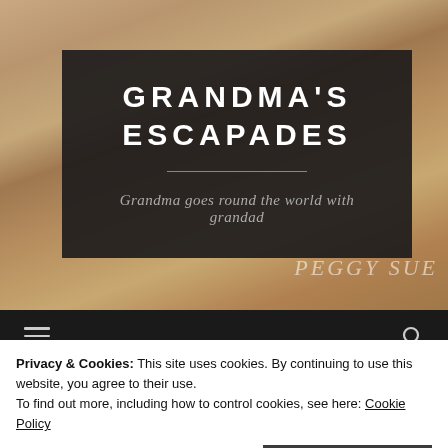[Figure (photo): Stone and wood textured background in warm beige and brown tones]
GRANDMA'S ESCAPADES
Grandma goes round the world with grandad
PEGGY SUE
Privacy & Cookies: This site uses cookies. By continuing to use this website, you agree to their use.
To find out more, including how to control cookies, see here: Cookie Policy
Close and accept